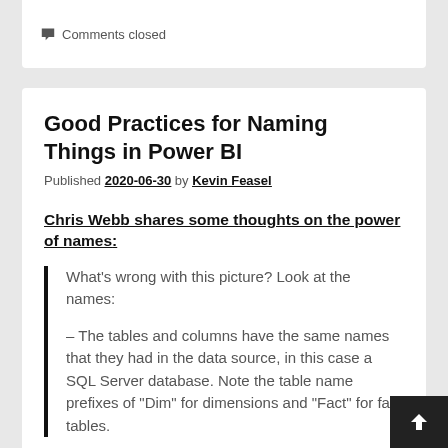Comments closed
Good Practices for Naming Things in Power BI
Published 2020-06-30 by Kevin Feasel
Chris Webb shares some thoughts on the power of names:
What's wrong with this picture? Look at the names:
– The tables and columns have the same names that they had in the data source, in this case a SQL Server database. Note the table name prefixes of "Dim" for dimensions and "Fact" for fact tables.